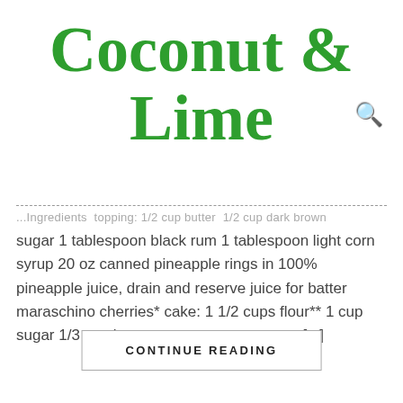Coconut & Lime
...Ingredients topping: 1/2 cup butter 1/2 cup dark brown sugar 1 tablespoon black rum 1 tablespoon light corn syrup 20 oz canned pineapple rings in 100% pineapple juice, drain and reserve juice for batter maraschino cherries* cake: 1 1/2 cups flour** 1 cup sugar 1/3 cup butter, at room temperature [...]
CONTINUE READING